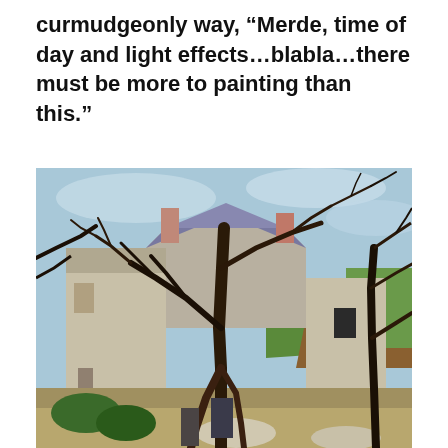curmudgeonly way, “Merde, time of day and light effects…blabla…there must be more to painting than this.”
[Figure (illustration): A Post-Impressionist painting showing a rustic farmhouse or rural building with bare, dark twisted trees in the foreground. The building has a blue-grey roof and whitish walls. The sky is light blue with wispy clouds. The landscape includes patches of green and ochre fields in the background. The painting style is blocky and geometric, reminiscent of Cézanne.]